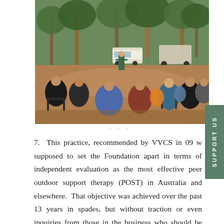[Figure (photo): Outdoor group meeting with people sitting in camp chairs in a natural bush setting with trees. A person stands in the center addressing the group. Several 4WD vehicles are parked in the background.]
7. This practice, recommended by VVCS in 09 w supposed to set the Foundation apart in terms of independent evaluation as the most effective peer outdoor support therapy (POST) in Australia and elsewhere. That objective was achieved over the past 13 years in spades, but without traction or even inquiries from those in the business who should be forensically looking at data and outcomes, it was